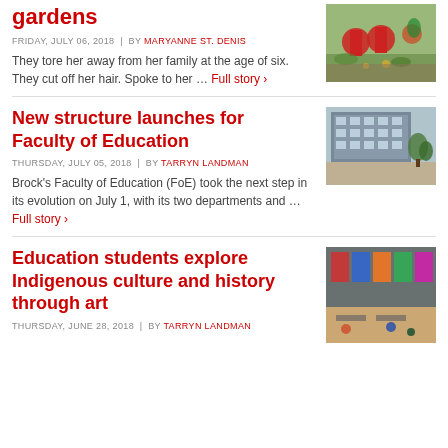gardens
FRIDAY, JULY 06, 2018 | by Maryanne St. Denis
They tore her away from her family at the age of six. They cut off her hair. Spoke to her ... Full story ›
[Figure (photo): Photo of heart-shaped garden decorations with flowers and plants]
New structure launches for Faculty of Education
THURSDAY, JULY 05, 2018 | by Tarryn Landman
Brock's Faculty of Education (FoE) took the next step in its evolution on July 1, with its two departments and ... Full story ›
[Figure (photo): Photo of a modern building exterior, Brock University Faculty of Education]
Education students explore Indigenous culture and history through art
THURSDAY, JUNE 28, 2018 | by Tarryn Landman
[Figure (photo): Photo of an art classroom/gallery with colourful artwork and students]